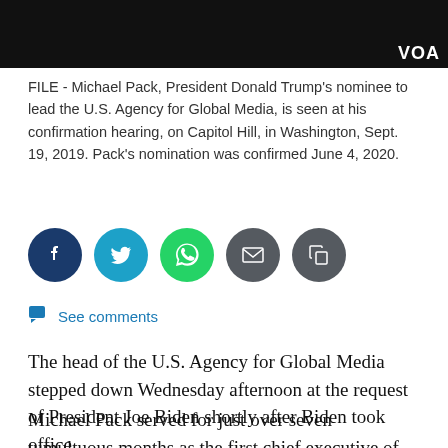[Figure (photo): Dark header image with VOA logo in bottom right corner]
FILE - Michael Pack, President Donald Trump's nominee to lead the U.S. Agency for Global Media, is seen at his confirmation hearing, on Capitol Hill, in Washington, Sept. 19, 2019. Pack's nomination was confirmed June 4, 2020.
[Figure (other): Social media share buttons: Facebook, Twitter, WhatsApp, Email, Copy]
See comments
The head of the U.S. Agency for Global Media stepped down Wednesday afternoon at the request of President Joe Biden shortly after Biden took office.
Michael Pack served for just over seven tumultuous months as the first chief executive of the agency under new legislation giving him expanded powers over the